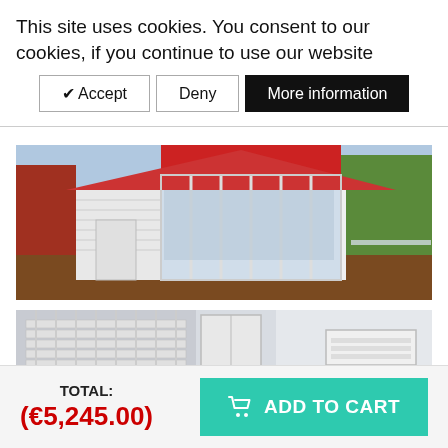This site uses cookies. You consent to our cookies, if you continue to use our website
✔ Accept | Deny | More information
[Figure (photo): Exterior photo of a modern white wooden house with large glass sliding doors and a wooden deck, surrounded by trees]
[Figure (photo): Interior photo showing a white room with stairs/railings and an air conditioning unit]
TOTAL:
(€5,245.00)
ADD TO CART